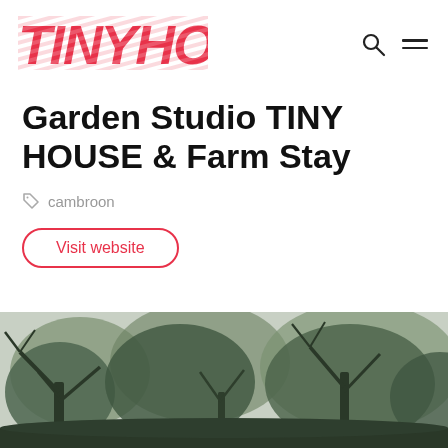TINYHOUSE:
Garden Studio TINY HOUSE & Farm Stay
cambroon
Visit website
[Figure (photo): Outdoor landscape photo showing large trees with bare/sparse branches against an overcast sky, dark green foliage visible.]